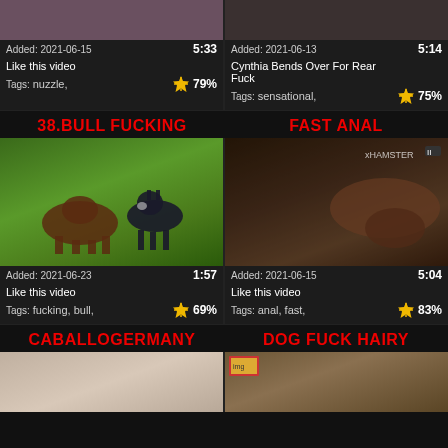[Figure (screenshot): Top-left video thumbnail partial view, dark/brown tones]
Added: 2021-06-15   5:33
Like this video
Tags: nuzzle,   79%
[Figure (screenshot): Top-right video thumbnail partial view, dark tones with mesh pattern]
Added: 2021-06-13   5:14
Cynthia Bends Over For Rear Fuck
Tags: sensational,   75%
38.BULL FUCKING
FAST ANAL
[Figure (screenshot): Bull and donkey in a green field]
Added: 2021-06-23   1:57
Like this video
Tags: fucking, bull,   69%
[Figure (screenshot): Close-up adult video still, blurred motion]
Added: 2021-06-15   5:04
Like this video
Tags: anal, fast,   83%
CABALLOGERMANY
DOG FUCK HAIRY
[Figure (screenshot): Partial thumbnail, light gray/beige tones]
[Figure (screenshot): Partial thumbnail, outdoor scene with small image inset]